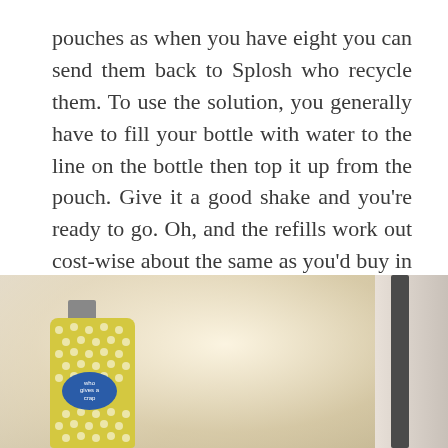pouches as when you have eight you can send them back to Splosh who recycle them. To use the solution, you generally have to fill your bottle with water to the line on the bottle then top it up from the pouch. Give it a good shake and you're ready to go. Oh, and the refills work out cost-wise about the same as you'd buy in a supermarket – and with free delivery.
Oh, and by doing it this way you could be reducing your plastic use by up to 90%.
[Figure (photo): Two photos side by side: left photo shows a yellow polka-dot cleaning product bottle (Splosh brand) on a light-coloured surface near a window; right photo shows a partial view of what appears to be a dark-coloured frame or furniture against a light background.]